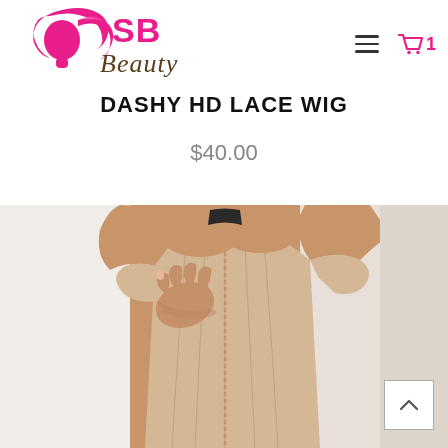[Figure (logo): SB Beauty logo with pink silhouette of woman's head and gold script text]
DASHY HD LACE WIG
$40.00
[Figure (photo): Woman wearing beige off-shoulder corset top, cropped photo showing torso and shoulders]
[Figure (other): Back to top arrow button]